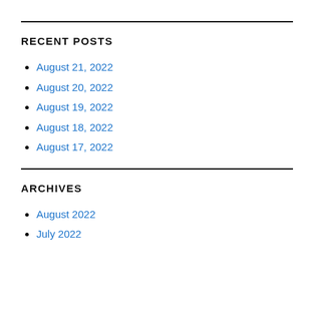RECENT POSTS
August 21, 2022
August 20, 2022
August 19, 2022
August 18, 2022
August 17, 2022
ARCHIVES
August 2022
July 2022